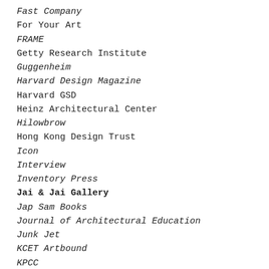Fast Company
For Your Art
FRAME
Getty Research Institute
Guggenheim
Harvard Design Magazine
Harvard GSD
Heinz Architectural Center
Hilowbrow
Hong Kong Design Trust
Icon
Interview
Inventory Press
Jai & Jai Gallery
Jap Sam Books
Journal of Architectural Education
Junk Jet
KCET Artbound
KPCC
L'Architecture d'Aujourd'hui
LA Weekly
LACMA
Landscape Architecture